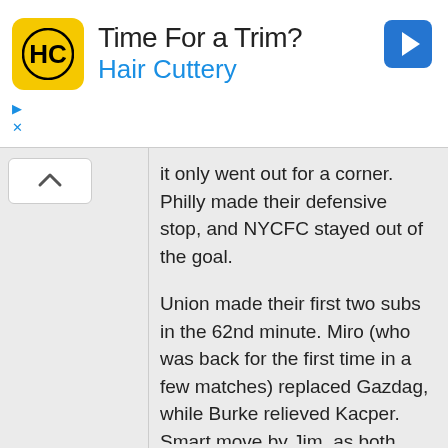[Figure (other): Hair Cuttery advertisement banner with logo, title 'Time For a Trim?', subtitle 'Hair Cuttery', navigation arrow icon, play and close controls]
it only went out for a corner. Philly made their defensive stop, and NYCFC stayed out of the goal.

Union made their first two subs in the 62nd minute. Miro (who was back for the first time in a few matches) replaced Gazdag, while Burke relieved Kacper. Smart move by Jim, as both players were, at times, invisible in the final third.

The fresh legs gave Philly some life, and that energy turned into the first goal for Alejandro Bedoya. Kai sent a right-footed cross into the box, which